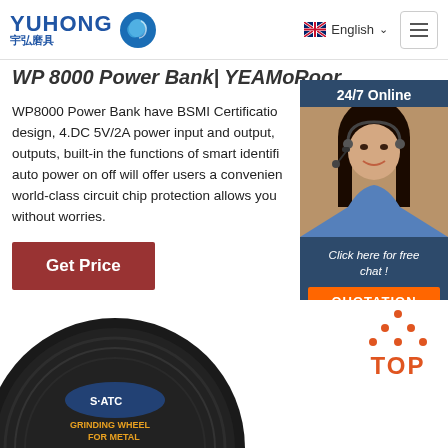YUHONG 宇弘磨具 | English | Navigation menu
WP 8000 Power Bank | YEAMoRoof
WP8000 Power Bank have BSMI Certification design, 4.DC 5V/2A power input and output, outputs, built-in the functions of smart identifi auto power on off will offer users a convenien world-class circuit chip protection allows you without worries.
Get Price
[Figure (photo): Chat support widget showing 24/7 Online label, photo of a woman with headset, 'Click here for free chat!' text, and QUOTATION button]
[Figure (photo): Close-up photo of a black grinding wheel for metal labeled SATC GRINDING WHEEL FOR METAL]
[Figure (other): TOP button with orange dots above it]